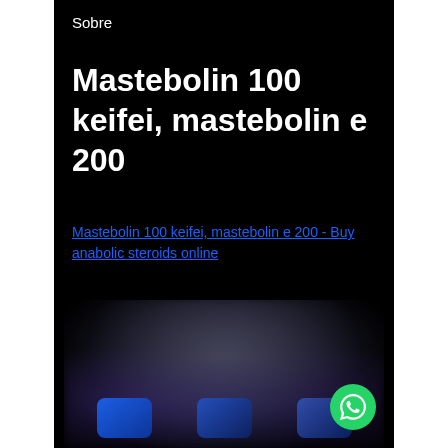Sobre
Mastebolin 100 keifei, mastebolin e 200
Mastebolin 100 keifei, mastebolin e 200 - Buy anabolic steroids online
[Figure (photo): Blurred dark screenshot showing product images at the bottom with colored icons]